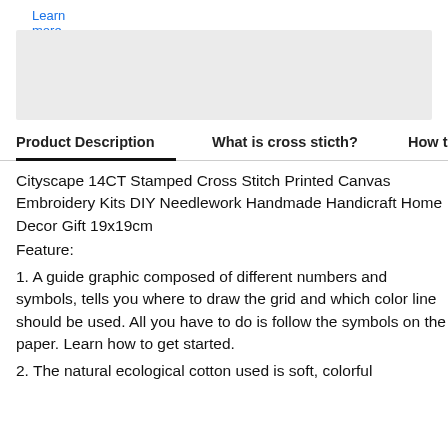Learn more
[Figure (other): Gray placeholder/advertisement box]
Product Description
What is cross sticth?
How to S...
Cityscape 14CT Stamped Cross Stitch Printed Canvas Embroidery Kits DIY Needlework Handmade Handicraft Home Decor Gift 19x19cm
Feature:
1. A guide graphic composed of different numbers and symbols, tells you where to draw the grid and which color line should be used. All you have to do is follow the symbols on the paper. Learn how to get started.
2. The natural ecological cotton used is soft, colorful and durable and is cross-stitch. Cross Stitch will maintain and...